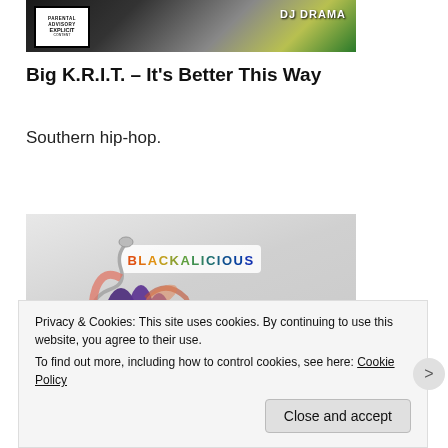[Figure (photo): Cropped top portion of a music mixtape cover with a Parental Advisory label on the left and 'DJ DRAMA' text visible on the right, dark background with green elements]
Big K.R.I.T. – It's Better This Way
Southern hip-hop.
Download For Free
[Figure (photo): Blackalicious album cover art showing a hand with colorful splatter elements and a snake-like spiral on a light gray background, with 'BLACKALICIOUS' text label in the upper center]
Privacy & Cookies: This site uses cookies. By continuing to use this website, you agree to their use.
To find out more, including how to control cookies, see here: Cookie Policy